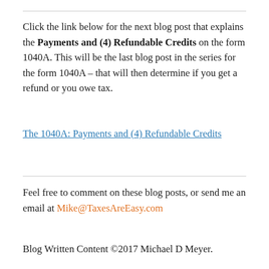Click the link below for the next blog post that explains the Payments and (4) Refundable Credits on the form 1040A. This will be the last blog post in the series for the form 1040A – that will then determine if you get a refund or you owe tax.
The 1040A: Payments and (4) Refundable Credits
Feel free to comment on these blog posts, or send me an email at Mike@TaxesAreEasy.com
Blog Written Content ©2017 Michael D Meyer.